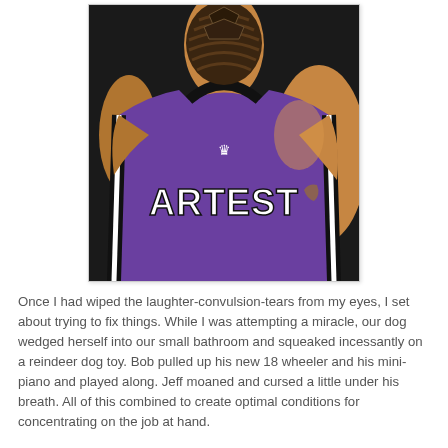[Figure (photo): Back view of a basketball player wearing a purple Sacramento Kings jersey with 'ARTEST' on the back. The player has an elaborate braided hairstyle on the back of their head. The jersey has a small crown logo at the top center of the back.]
Once I had wiped the laughter-convulsion-tears from my eyes, I set about trying to fix things. While I was attempting a miracle, our dog wedged herself into our small bathroom and squeaked incessantly on a reindeer dog toy. Bob pulled up his new 18 wheeler and his mini-piano and played along. Jeff moaned and cursed a little under his breath. All of this combined to create optimal conditions for concentrating on the job at hand.